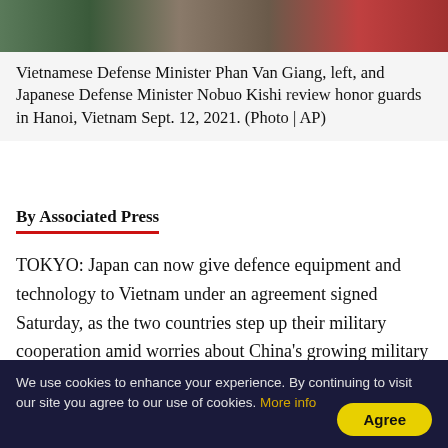[Figure (photo): Photo strip showing Vietnamese Defense Minister Phan Van Giang and Japanese Defense Minister Nobuo Kishi reviewing honor guards]
Vietnamese Defense Minister Phan Van Giang, left, and Japanese Defense Minister Nobuo Kishi review honor guards in Hanoi, Vietnam Sept. 12, 2021. (Photo | AP)
By Associated Press
TOKYO: Japan can now give defence equipment and technology to Vietnam under an agreement signed Saturday, as the two countries step up their military cooperation amid worries about China's growing military influence.
Japan's Defense Minister Nobuo Kishi said the deal elevates their defence partnership “to a new level” and that Japan and Vietnam plan to deepen defence ties
We use cookies to enhance your experience. By continuing to visit our site you agree to our use of cookies. More info